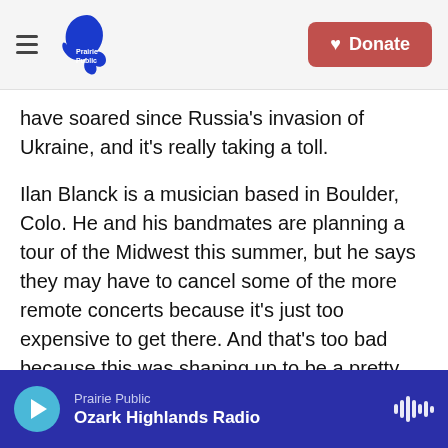Prairie Public | Donate
have soared since Russia's invasion of Ukraine, and it's really taking a toll.
Ilan Blanck is a musician based in Boulder, Colo. He and his bandmates are planning a tour of the Midwest this summer, but he says they may have to cancel some of the more remote concerts because it's just too expensive to get there. And that's too bad because this was shaping up to be a pretty good summer for live music.
CHANG: Yeah.
Prairie Public | Ozark Highlands Radio